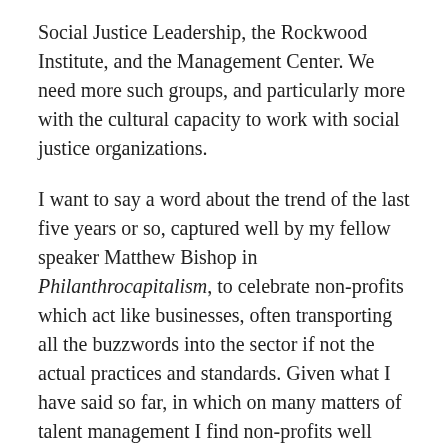Social Justice Leadership, the Rockwood Institute, and the Management Center. We need more such groups, and particularly more with the cultural capacity to work with social justice organizations.
I want to say a word about the trend of the last five years or so, captured well by my fellow speaker Matthew Bishop in Philanthrocapitalism, to celebrate non-profits which act like businesses, often transporting all the buzzwords into the sector if not the actual practices and standards. Given what I have said so far, in which on many matters of talent management I find non-profits well behind the private sector, you might expect me to be an unalloyed admirer of this trend. In fact, I am not, and I think the exaltation of venture philanthropy is overblown, as Matthew himself would